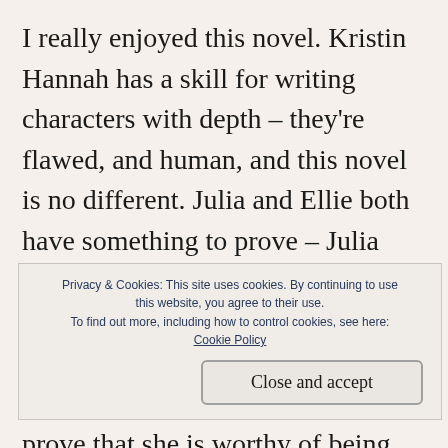I really enjoyed this novel. Kristin Hannah has a skill for writing characters with depth – they're flawed, and human, and this novel is no different. Julia and Ellie both have something to prove – Julia needs to show the world, and herself, that she is capable of overcoming the tragedy with her previous patient, and Ellie has to prove that she is worthy of being the police chief, and that she can handle his cases without needing help from bigger f… T… h…
Privacy & Cookies: This site uses cookies. By continuing to use this website, you agree to their use. To find out more, including how to control cookies, see here: Cookie Policy
Close and accept